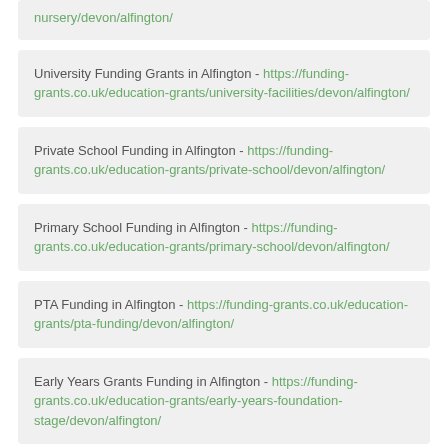nursery/devon/alfington/ [partial card at top]
University Funding Grants in Alfington - https://funding-grants.co.uk/education-grants/university-facilities/devon/alfington/
Private School Funding in Alfington - https://funding-grants.co.uk/education-grants/private-school/devon/alfington/
Primary School Funding in Alfington - https://funding-grants.co.uk/education-grants/primary-school/devon/alfington/
PTA Funding in Alfington - https://funding-grants.co.uk/education-grants/pta-funding/devon/alfington/
Early Years Grants Funding in Alfington - https://funding-grants.co.uk/education-grants/early-years-foundation-stage/devon/alfington/